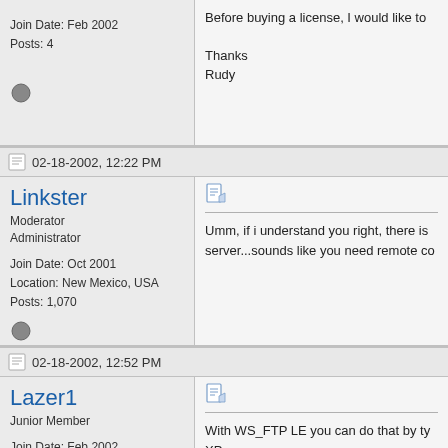Join Date: Feb 2002
Posts: 4
Before buying a license, I would like to

Thanks
Rudy
02-18-2002, 12:22 PM
Linkster
Moderator
Administrator
Join Date: Oct 2001
Location: New Mexico, USA
Posts: 1,070
Umm, if i understand you right, there is
server...sounds like you need remote co
02-18-2002, 12:52 PM
Lazer1
Junior Member
Join Date: Feb 2002
Posts: 4
With WS_FTP LE you can do that by ty
XP.
The reaon is that I have several HDD o